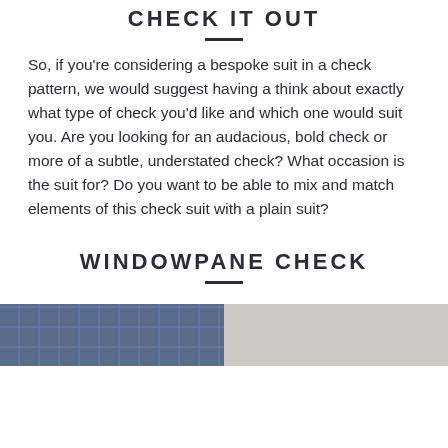CHECK IT OUT
So, if you're considering a bespoke suit in a check pattern, we would suggest having a think about exactly what type of check you'd like and which one would suit you. Are you looking for an audacious, bold check or more of a subtle, understated check? What occasion is the suit for? Do you want to be able to mix and match elements of this check suit with a plain suit?
WINDOWPANE CHECK
[Figure (photo): Two side-by-side photos: left shows a blue windowpane check suit fabric close-up; right shows a man wearing a suit with a tie.]